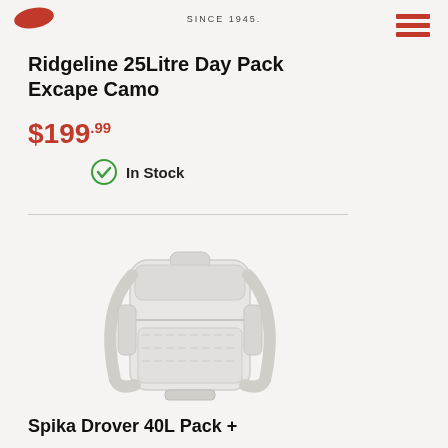SINCE 1945.
Ridgeline 25Litre Day Pack Excape Camo
$199.99
In Stock
[Figure (photo): Backpack product image - light colored/white tactical backpack (Spika Drover 40L Pack)]
Spika Drover 40L Pack +